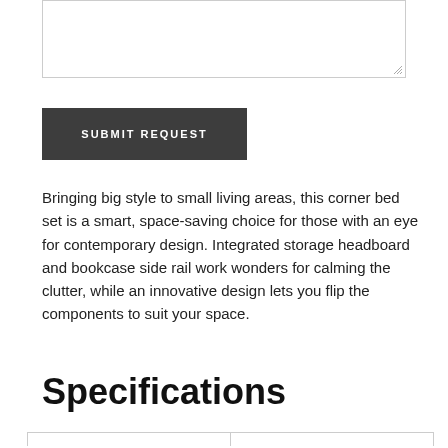[Figure (other): Text area input box with resize handle in bottom-right corner]
[Figure (other): Dark gray submit request button with white uppercase text]
Bringing big style to small living areas, this corner bed set is a smart, space-saving choice for those with an eye for contemporary design. Integrated storage headboard and bookcase side rail work wonders for calming the clutter, while an innovative design lets you flip the components to suit your space.
Specifications
|  |